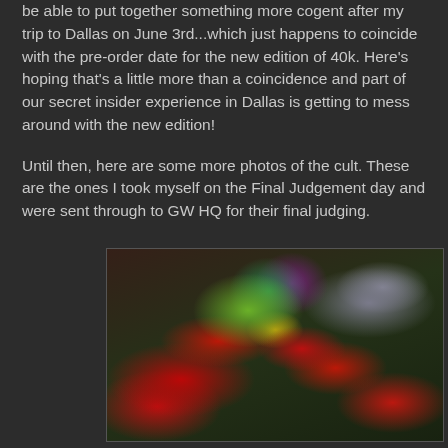be able to put together something more cogent after my trip to Dallas on June 3rd...which just happens to coincide with the pre-order date for the new edition of 40k. Here's hoping that's a little more than a coincidence and part of our secret insider experience in Dallas is getting to mess around with the new edition!
Until then, here are some more photos of the cult. These are the ones I took myself on the Final Judgement day and were sent through to GW HQ for their final judging.
[Figure (photo): Top-down photograph of colorful Warhammer 40k miniatures (cult figures) arranged on a green gaming table. Figures include red-robed models, a large green/teal creature, and various other brightly painted miniatures with yellow, purple, and other details. A metallic cylinder visible in background right.]